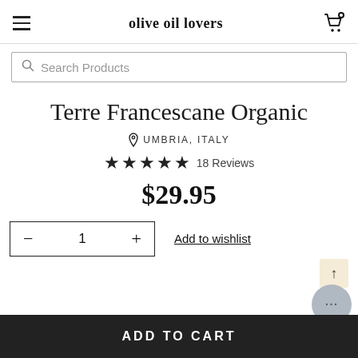olive oil lovers
Search Products
Terre Francescane Organic
UMBRIA, ITALY
★★★★★ 18 Reviews
$29.95
Add to wishlist
ADD TO CART